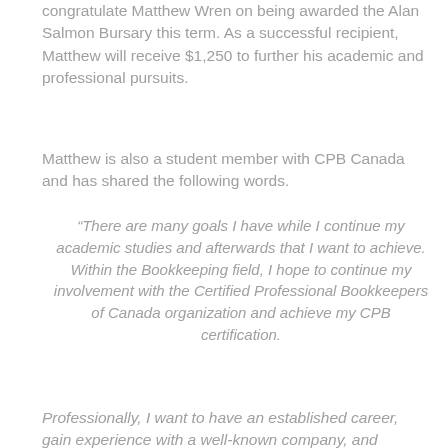congratulate Matthew Wren on being awarded the Alan Salmon Bursary this term. As a successful recipient, Matthew will receive $1,250 to further his academic and professional pursuits.
Matthew is also a student member with CPB Canada and has shared the following words.
“There are many goals I have while I continue my academic studies and afterwards that I want to achieve. Within the Bookkeeping field, I hope to continue my involvement with the Certified Professional Bookkeepers of Canada organization and achieve my CPB certification.
Professionally, I want to have an established career, gain experience with a well-known company, and